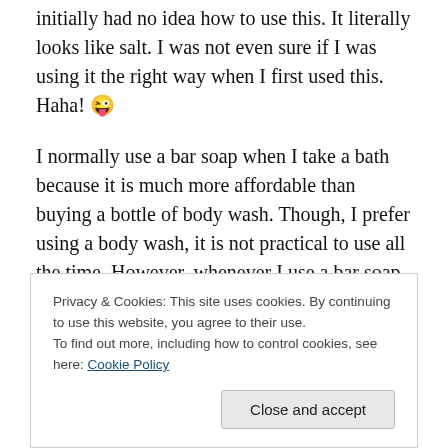initially had no idea how to use this. It literally looks like salt. I was not even sure if I was using it the right way when I first used this. Haha! 😜
I normally use a bar soap when I take a bath because it is much more affordable than buying a bottle of body wash. Though, I prefer using a body wash, it is not practical to use all the time. However, whenever I use a bar soap, my skin tends to get dry. This is where the My Choice Carrot Spa Salt comes in. I do not worry having dry skin anymore because this exfoliates my skin and removes all the residue left from the bar soap that I used. Now, I enjoy
Privacy & Cookies: This site uses cookies. By continuing to use this website, you agree to their use.
To find out more, including how to control cookies, see here: Cookie Policy
Close and accept